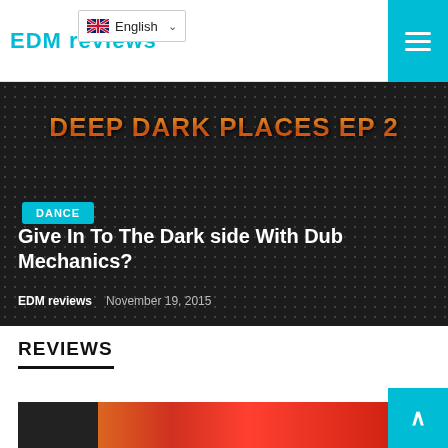EDM reviews
[Figure (screenshot): Language selector dropdown showing English with UK flag and chevron]
[Figure (screenshot): Hamburger menu button (cyan/teal background with three white horizontal lines)]
[Figure (photo): Hero image: dark metallic dot-grid background with orange text 'DEEP DARK PLACES EP 2', cyan DANCE badge, article title and metadata]
DANCE
Give In To The Dark side With Dub Mechanics?
EDM reviews  November 19, 2015
REVIEWS
[Figure (photo): Partial bottom image strip showing colorful background with a person's hair visible]